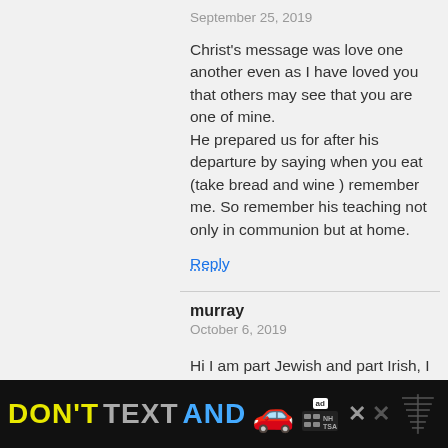September 25, 2019
Christ's message was love one another even as I have loved you that others may see that you are one of mine.
He prepared us for after his departure by saying when you eat (take bread and wine ) remember me. So remember his teaching not only in communion but at home.
Reply
murray
October 6, 2019
Hi I am part Jewish and part Irish, I didn't know what church to go to so I prayed, and was told “I am everywhere my child where love is I am there! “Im not worried anymore.
Reply
[Figure (infographic): Black banner advertisement: 'DON'T TEXT AND' with a red car emoji, ad badge, NHTSA logo, close button X, and a weather/signal icon on the right.]